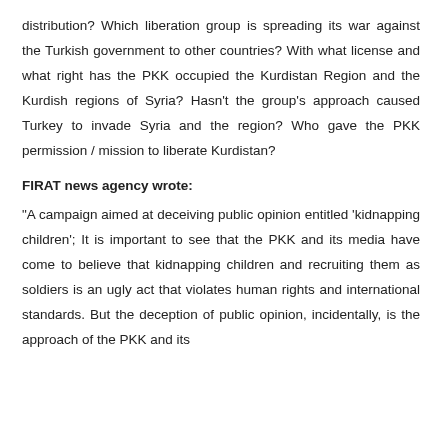distribution? Which liberation group is spreading its war against the Turkish government to other countries? With what license and what right has the PKK occupied the Kurdistan Region and the Kurdish regions of Syria? Hasn't the group's approach caused Turkey to invade Syria and the region? Who gave the PKK permission / mission to liberate Kurdistan?
FIRAT news agency wrote:
"A campaign aimed at deceiving public opinion entitled 'kidnapping children'; It is important to see that the PKK and its media have come to believe that kidnapping children and recruiting them as soldiers is an ugly act that violates human rights and international standards. But the deception of public opinion, incidentally, is the approach of the PKK and its